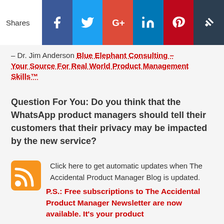[Figure (other): Social share bar with icons for Facebook, Twitter, Google+, LinkedIn, Pinterest, and Feedly/crown icon. 'Shares' label on the left.]
– Dr. Jim Anderson Blue Elephant Consulting – Your Source For Real World Product Management Skills™
Question For You: Do you think that the WhatsApp product managers should tell their customers that their privacy may be impacted by the new service?
[Figure (other): RSS feed orange icon]
Click here to get automatic updates when The Accidental Product Manager Blog is updated.
P.S.: Free subscriptions to The Accidental Product Manager Newsletter are now available. It's your product